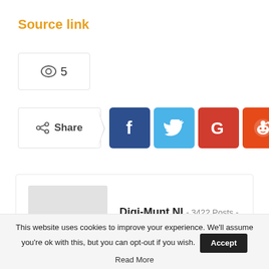Source link
👁 5
[Figure (infographic): Share button with social media icons: Facebook (dark blue), Twitter (light blue), Google+ (red), Reddit (orange-red), and a plus/more button]
[Figure (infographic): Author card for Digi-Munt.NL showing avatar placeholder, name, 3422 Posts, 0 Comments]
This website uses cookies to improve your experience. We'll assume you're ok with this, but you can opt-out if you wish. Accept Read More